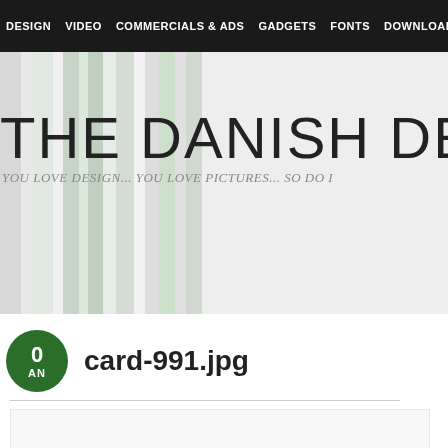DESIGN  VIDEO  COMMERCIALS & ADS  GADGETS  FONTS  DOWNLOADS
[Figure (screenshot): Website banner for 'The Danish Design' blog with vertical stripe background in grey and green tones]
THE DANISH DESIG
YOU LOVE DESIGN... YOU LOVE PICTURES... SO DO I
card-991.jpg